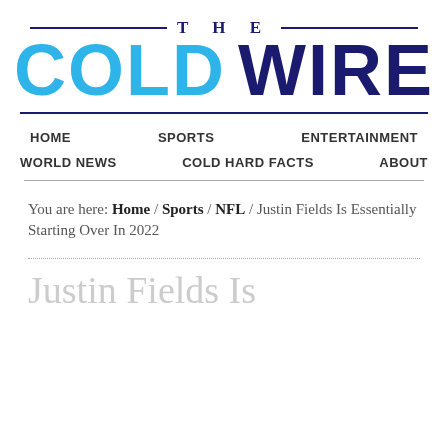[Figure (logo): The Cold Wire logo with 'THE' in dark navy flanked by horizontal lines, 'COLD' in cyan and 'WIRE' in dark navy, large bold text]
HOME   SPORTS   ENTERTAINMENT   WORLD NEWS   COLD HARD FACTS   ABOUT
You are here: Home / Sports / NFL / Justin Fields Is Essentially Starting Over In 2022
Justin Fields Is